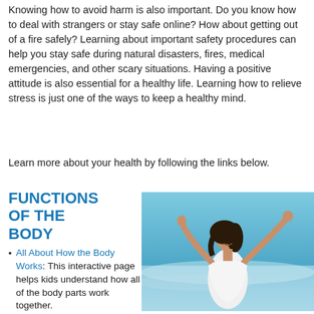Knowing how to avoid harm is also important. Do you know how to deal with strangers or stay safe online? How about getting out of a fire safely? Learning about important safety procedures can help you stay safe during natural disasters, fires, medical emergencies, and other scary situations. Having a positive attitude is also essential for a healthy life. Learning how to relieve stress is just one of the ways to keep a healthy mind.
Learn more about your health by following the links below.
FUNCTIONS OF THE BODY
All About How the Body Works: This interactive page helps kids understand how all of the body parts work together.
A Look Inside...
[Figure (photo): A woman with dark hair and a white top standing outdoors with her arms raised wide, smiling, with a blurred blue ocean/sky background.]